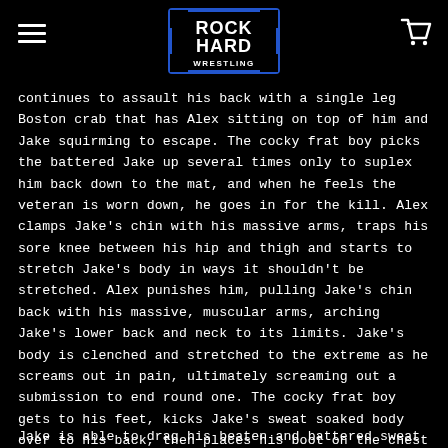Rock Hard Wrestling
continues to assault his back with a single leg Boston crab that has Alex sitting on top of him and Jake squirming to escape. The cocky frat boy picks the battered Jake up several times only to suplex him back down to the mat, and when he feels the veteran is worn down, he goes in for the kill. Alex clamps Jake’s chin with his massive arms, traps his sore knee between his hip and thigh and starts to stretch Jake’s body in ways it shouldn't be stretched. Alex punishes him, pulling Jake’s chin back with his massive, muscular arms, arching Jake’s lower back and neck to its limits. Jake’s body is clenched and stretched to the extreme as he screams out in pain, ultimately screaming out a submission to end round one. The cocky frat boy gets to his feet, kicks Jake’s sweat soaked body over to his back, then places his boot on the chest and flexes his perfect muscles in victory for his fans.
Jake is able to drag his beaten and battered sweat soaked